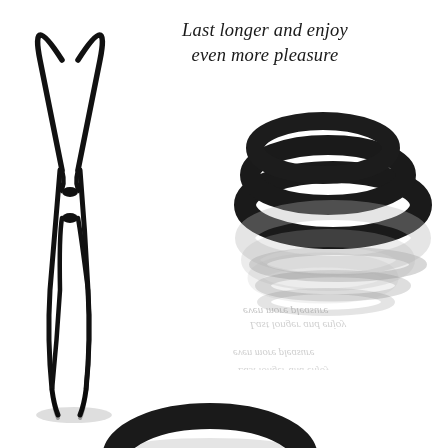[Figure (photo): Black lasso-style adjustable silicone loop with two sliding beads on long dangling cords, shown against white background with slight shadow at base]
Last longer and enjoy even more pleasure
[Figure (photo): Three stacked black silicone rings of varying sizes shown from the front with glossy reflection below, mirrored reflection shows reversed text 'Last longer and enjoy even more pleasure']
[Figure (photo): Single black silicone ring shown partially at bottom of image, top arc visible against white background]